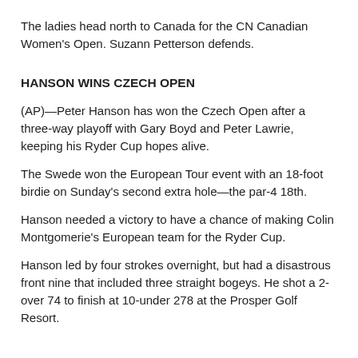The ladies head north to Canada for the CN Canadian Women's Open. Suzann Petterson defends.
HANSON WINS CZECH OPEN
(AP)—Peter Hanson has won the Czech Open after a three-way playoff with Gary Boyd and Peter Lawrie, keeping his Ryder Cup hopes alive.
The Swede won the European Tour event with an 18-foot birdie on Sunday's second extra hole—the par-4 18th.
Hanson needed a victory to have a chance of making Colin Montgomerie's European team for the Ryder Cup.
Hanson led by four strokes overnight, but had a disastrous front nine that included three straight bogeys. He shot a 2-over 74 to finish at 10-under 278 at the Prosper Golf Resort.